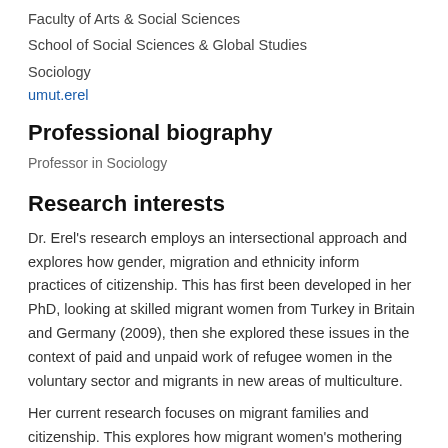Faculty of Arts & Social Sciences
School of Social Sciences & Global Studies
Sociology
umut.erel
Professional biography
Professor in Sociology
Research interests
Dr. Erel's research employs an intersectional approach and explores how gender, migration and ethnicity inform practices of citizenship. This has first been developed in her PhD, looking at skilled migrant women from Turkey in Britain and Germany (2009), then she explored these issues in the context of paid and unpaid work of refugee women in the voluntary sector and migrants in new areas of multiculture.
Her current research focuses on migrant families and citizenship. This explores how migrant women's mothering